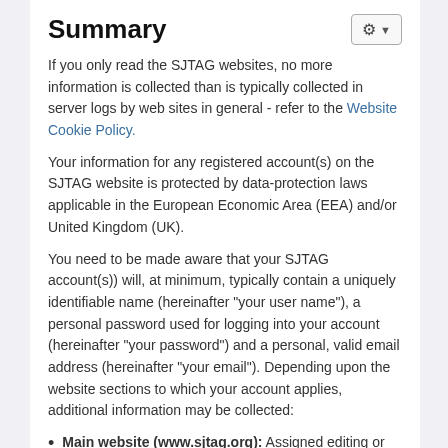Summary
If you only read the SJTAG websites, no more information is collected than is typically collected in server logs by web sites in general - refer to the Website Cookie Policy.
Your information for any registered account(s) on the SJTAG website is protected by data-protection laws applicable in the European Economic Area (EEA) and/or United Kingdom (UK).
You need to be made aware that your SJTAG account(s)) will, at minimum, typically contain a uniquely identifiable name (hereinafter "your user name"), a personal password used for logging into your account (hereinafter "your password") and a personal, valid email address (hereinafter "your email"). Depending upon the website sections to which your account applies, additional information may be collected:
Main website (www.sjtag.org): Assigned editing or administration rights; Language preferences; Timezone; Date of registration; Date of last login; History of contributions to the website.
Forums (forums.sjtag.org): Occupation; Location (and/or affiliation); Personal or affiliation website URL; Social media user names; Language preferences; Timezone; History of messages posted to the forums and direct